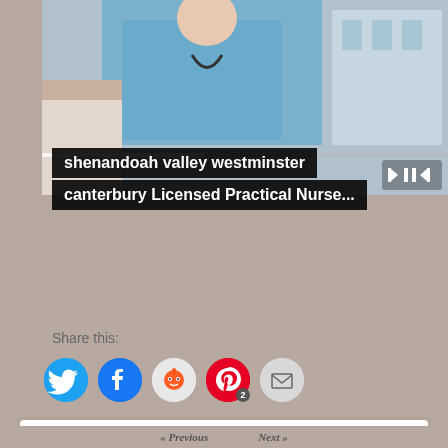[Figure (screenshot): Video player showing nurse in blue scrubs with stethoscope attending to patient. Video progress bar and controls visible. Black overlay caption reads 'shenandoah valley westminster canterbury Licensed Practical Nurse...']
shenandoah valley westminster canterbury Licensed Practical Nurse...
Share this:
[Figure (other): Social share buttons: Twitter (blue bird), Facebook (blue f), Reddit (light grey alien), Pinterest (red P with badge 2), Email (grey envelope)]
Privacy & Cookies: This site uses cookies. By continuing to use this website, you agree to their use.
To find out more, including how to control cookies, see here: Cookie Policy
Close and accept
« Previous   Next »